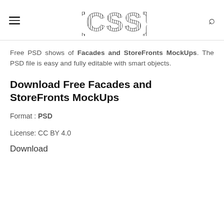{CSS}
Free PSD shows of Facades and StoreFronts MockUps. The PSD file is easy and fully editable with smart objects.
Download Free Facades and StoreFronts MockUps
Format : PSD
License: CC BY 4.0
Download